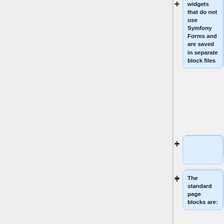widgets that do not use Symfony Forms and are saved in separate block files
The standard page blocks are:
* head - defines the document <head> element
* styles - stylesheets to be included at the top of the document <head> element
* body - defines